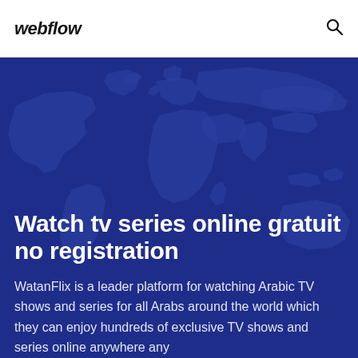webflow
[Figure (illustration): World map silhouette on dark blue background used as hero section backdrop]
Watch tv series online gratuit no registration
WatanFlix is a leader platform for watching Arabic TV shows and series for all Arabs around the world which they can enjoy hundreds of exclusive TV shows and series online anywhere any